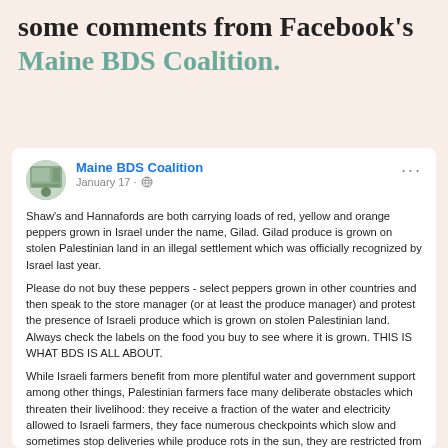some comments from Facebook's Maine BDS Coalition.
[Figure (screenshot): Facebook post by Maine BDS Coalition dated January 17 with globe icon. Post text: Shaw's and Hannafords are both carrying loads of red, yellow and orange peppers grown in Israel under the name, Gilad. Gilad produce is grown on stolen Palestinian land in an illegal settlement which was officially recognized by Israel last year. Please do not buy these peppers - select peppers grown in other countries and then speak to the store manager (or at least the produce manager) and protest the presence of Israeli produce which is grown on stolen Palestinian land. Always check the labels on the food you buy to see where it is grown. THIS IS WHAT BDS IS ALL ABOUT. While Israeli farmers benefit from more plentiful water and government support among other things, Palestinian farmers face many deliberate obstacles which threaten their livelihood: they receive a fraction of the water and electricity allowed to Israeli farmers, they face numerous checkpoints which slow and sometimes stop deliveries while produce rots in the sun, they are restricted from roads (built on stolen Palestinian land) which are only open to Israelis, they have to contend with untreated human and factory waste from illegal settlements which floods and pollutes their land as well as regular settler attacks on crops and...]